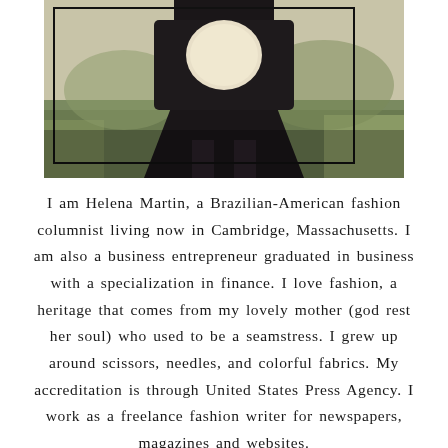[Figure (photo): Partial photo of a person in a dark dress/outfit holding what appears to be a light-colored round object (possibly a hat or bag), standing outdoors with greenery/grass in the background. The image is cropped showing the lower body and arms. There is a rectangular border overlaid on part of the image.]
I am Helena Martin, a Brazilian-American fashion columnist living now in Cambridge, Massachusetts. I am also a business entrepreneur graduated in business with a specialization in finance. I love fashion, a heritage that comes from my lovely mother (god rest her soul) who used to be a seamstress. I grew up around scissors, needles, and colorful fabrics. My accreditation is through United States Press Agency. I work as a freelance fashion writer for newspapers, magazines and websites.